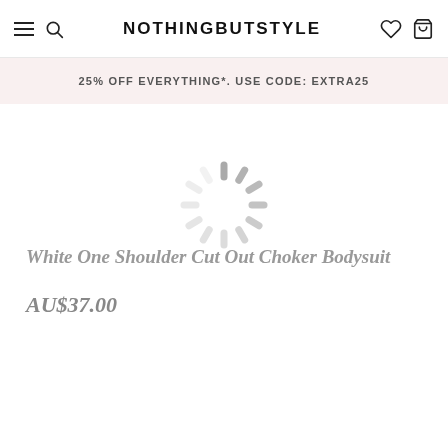NOTHINGBUTSTYLE
25% OFF EVERYTHING*. USE CODE: EXTRA25
[Figure (other): Loading spinner animation (circular dashed spinner icon) overlaid on white product image area]
White One Shoulder Cut Out Choker Bodysuit
AU$37.00